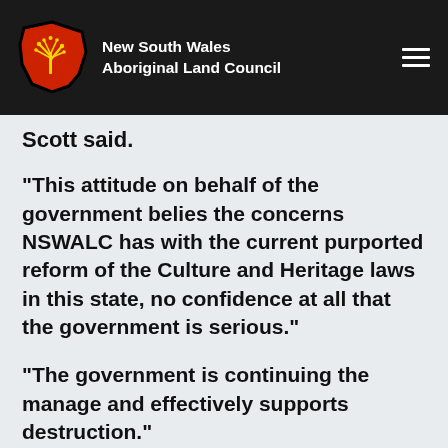[Figure (logo): New South Wales Aboriginal Land Council logo — stylized NSW map shape in black with red fill and yellow tree motif, next to white bold text reading 'New South Wales Aboriginal Land Council']
New South Wales Aboriginal Land Council
Scott said.
"This attitude on behalf of the government belies the concerns NSWALC has with the current purported reform of the Culture and Heritage laws in this state, no confidence at all that the government is serious."
"The government is continuing the manage and effectively supports destruction."